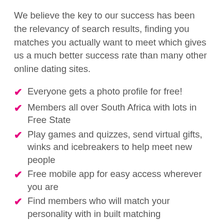We believe the key to our success has been the relevancy of search results, finding you matches you actually want to meet which gives us a much better success rate than many other online dating sites.
Everyone gets a photo profile for free!
Members all over South Africa with lots in Free State
Play games and quizzes, send virtual gifts, winks and icebreakers to help meet new people
Free mobile app for easy access wherever you are
Find members who will match your personality with in built matching
Dedicated quality customer service